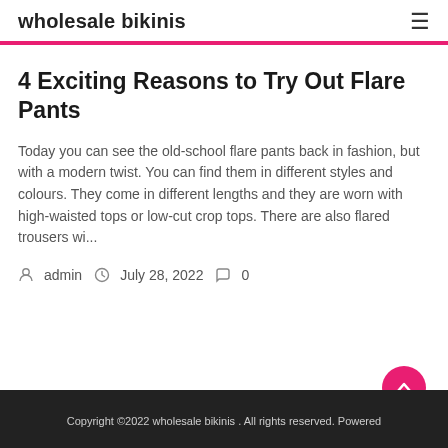wholesale bikinis
4 Exciting Reasons to Try Out Flare Pants
Today you can see the old-school flare pants back in fashion, but with a modern twist. You can find them in different styles and colours. They come in different lengths and they are worn with high-waisted tops or low-cut crop tops. There are also flared trousers wi...
admin  July 28, 2022  0
Copyright ©2022 wholesale bikinis . All rights reserved. Powered